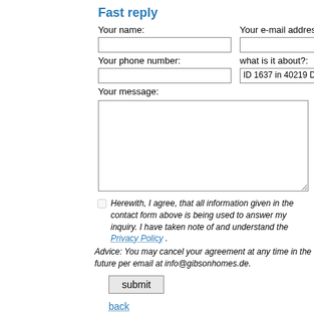Fast reply
Your name:
Your e-mail address:
Your phone number:
what is it about?:
ID 1637 in 40219  Düsseldorf -
Your message:
Herewith, I agree, that all information given in the contact form above is being used to answer my inquiry. I have taken note of and understand the Privacy Policy . Advice: You may cancel your agreement at any time in the future per email at info@gibsonhomes.de.
submit
back
Privacy Policy
©2007-2022 Gibson Homes Immobilien und Relocation